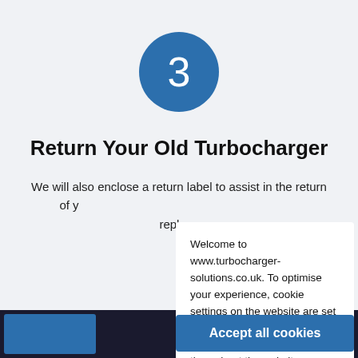[Figure (infographic): Blue circle with white number 3 inside, step indicator]
Return Your Old Turbocharger
We will also enclose a return label to assist in the return of y... replace...
Welcome to www.turbocharger-solutions.co.uk. To optimise your experience, cookie settings on the website are set to allow all cookies. By continuing your journey throughout the website, you consent to this.
Learn more
Accept all cookies